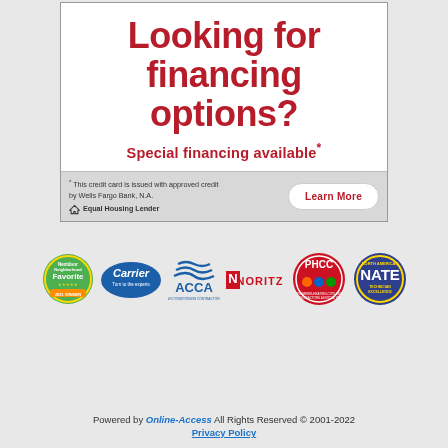Looking for financing options?
Special financing available*
* This credit card is issued with approved credit by Wells Fargo Bank, N.A. Equal Housing Lender
[Figure (logo): Nextdoor Neighborhood Favorite logo (green circle badge)]
[Figure (logo): Carrier - Turn to the experts logo (blue oval)]
[Figure (logo): ACCA logo (blue stacked waves with ACCA text)]
[Figure (logo): Noritz logo (red N symbol with NORITZ text)]
[Figure (logo): PHCC - Plumbing-Heating-Cooling Contractors Association logo (red circular badge)]
[Figure (logo): NATE - North American Technician Excellence logo (blue/gold circular badge)]
Powered by Online-Access All Rights Reserved © 2001-2022 Privacy Policy